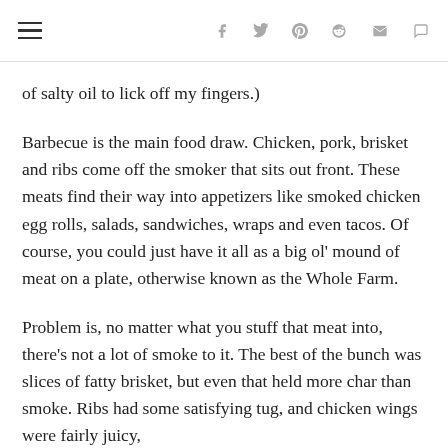Navigation and social sharing icons
of salty oil to lick off my fingers.)
Barbecue is the main food draw. Chicken, pork, brisket and ribs come off the smoker that sits out front. These meats find their way into appetizers like smoked chicken egg rolls, salads, sandwiches, wraps and even tacos. Of course, you could just have it all as a big ol' mound of meat on a plate, otherwise known as the Whole Farm.
Problem is, no matter what you stuff that meat into, there's not a lot of smoke to it. The best of the bunch was slices of fatty brisket, but even that held more char than smoke. Ribs had some satisfying tug, and chicken wings were fairly juicy,